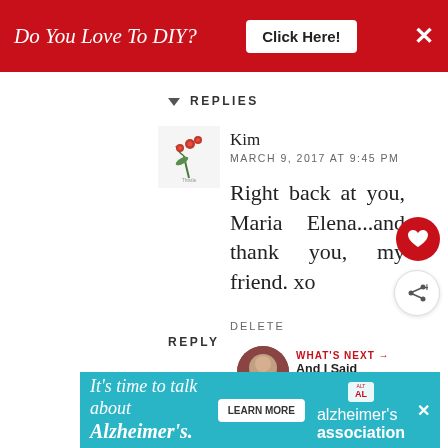[Figure (screenshot): Red advertisement banner at top: 'Do You Love To DIY? Click Here!' with X close button]
▼  REPLIES
[Figure (illustration): Small flower/floral logo avatar for Kim]
Kim
MARCH 9, 2017 AT 9:45 PM
Right back at you, Maria Elena...and thank you, my friend. xo
DELETE
REPLY
WHAT'S NEXT → And I Said This Would...
susan
[Figure (screenshot): Bottom advertisement: 'It's time to talk about Alzheimer's.' with Learn More button and Alzheimer's Association logo]